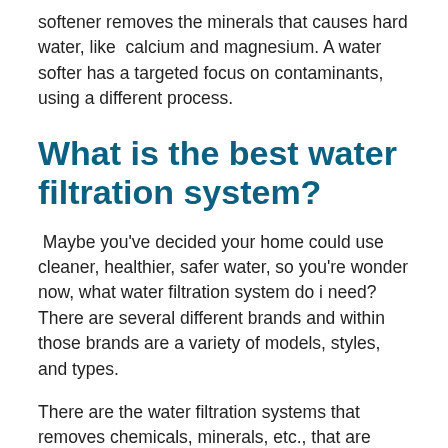softener removes the minerals that causes hard water, like  calcium and magnesium. A water softer has a targeted focus on contaminants, using a different process.
What is the best water filtration system?
Maybe you've decided your home could use cleaner, healthier, safer water, so you're wonder now, what water filtration system do i need? There are several different brands and within those brands are a variety of models, styles, and types.
There are the water filtration systems that removes chemicals, minerals, etc., that are installed on the faucet or under the sink as well as the pitcher style. You need to choose the one that is best for your budget and targets